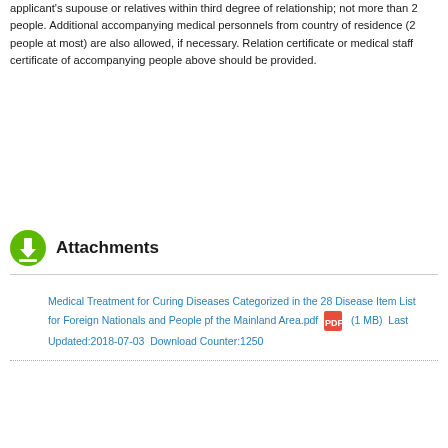applicant's supouse or relatives within third degree of relationship; not more than 2 people. Additional accompanying medical personnels from country of residence (2 people at most) are also allowed, if necessary. Relation certificate or medical staff certificate of accompanying people above should be provided.
Attachments
Medical Treatment for Curing Diseases Categorized in the 28 Disease Item List for Foreign Nationals and People pf the Mainland Area.pdf (1 MB) Last Updated:2018-07-03 Download Counter:1250